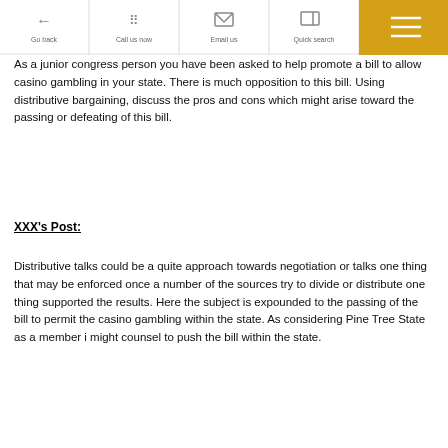Discussion Question:
[Figure (screenshot): Navigation bar with Go back, Call us now, Email us, Quick search, and hamburger menu buttons. The hamburger menu button has an orange/gold background.]
As a junior congress person you have been asked to help promote a bill to allow casino gambling in your state. There is much opposition to this bill. Using distributive bargaining, discuss the pros and cons which might arise toward the passing or defeating of this bill.
XXX's Post:
Distributive talks could be a quite approach towards negotiation or talks one thing that may be enforced once a number of the sources try to divide or distribute one thing supported the results. Here the subject is expounded to the passing of the bill to permit the casino gambling within the state. As considering Pine Tree State as a member i might counsel to push the bill within the state.